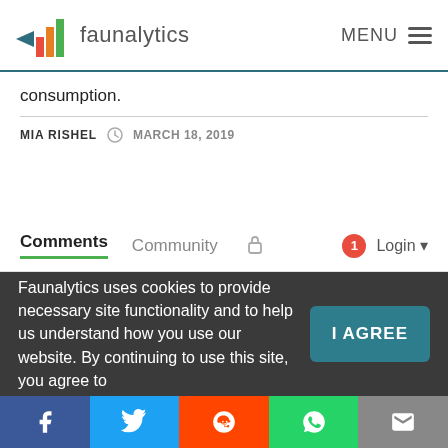faunalytics | MENU
consumption.
MIA RISHEL  MARCH 18, 2019
Comments  Community  Login
Faunalytics uses cookies to provide necessary site functionality and to help us understand how you use our website. By continuing to use this site, you agree to
Facebook  Twitter  Reddit  WhatsApp  Email